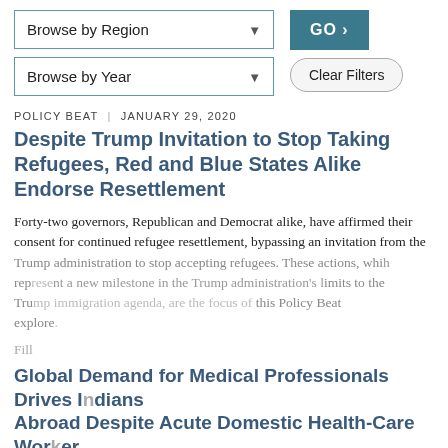[Figure (screenshot): Browse by Region dropdown selector with teal border]
[Figure (screenshot): Browse by Year dropdown selector with teal border, GO button (teal), and Clear Filters button]
POLICY BEAT | JANUARY 29, 2020
Despite Trump Invitation to Stop Taking Refugees, Red and Blue States Alike Endorse Resettlement
Forty-two governors, Republican and Democrat alike, have affirmed their consent for continued refugee resettlement, bypassing an invitation from the Trump administration to stop accepting refugees. These actions, which represent a new milestone in the Trump administration's limits to the Trump immigration agenda, are the focus of this Policy Beat explore.
[Figure (screenshot): Cookie consent overlay: 'We use cookies to broadly understand traffic to this website. Continue browsing if this is acceptable. Learn more about cookies' with 'I understand' button]
Global Demand for Medical Professionals Drives Indians Abroad Despite Acute Domestic Health-Care Worker Shortages